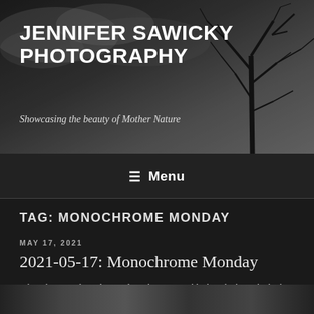[Figure (photo): Black and white hero banner with bare tree silhouette against cloudy sky, serving as website header background]
JENNIFER SAWICKY PHOTOGRAPHY
Showcasing the beauty of Mother Nature
☰ Menu
TAG: MONOCHROME MONDAY
MAY 17, 2021
2021-05-17: Monochrome Monday
I thought mama bear deserved another post. In black and white, she looks a bit more imposing than she does in real life. Or maybe that's just me?
[Figure (photo): Partial view of a black and white nature photograph at the bottom of the page]